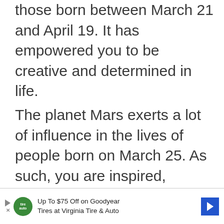those born between March 21 and April 19. It has empowered you to be creative and determined in life.
The planet Mars exerts a lot of influence in the lives of people born on March 25. As such, you are inspired, dynamic, and romantic.
[Figure (other): Gray advertisement placeholder box]
Up To $75 Off on Goodyear Tires at Virginia Tire & Auto